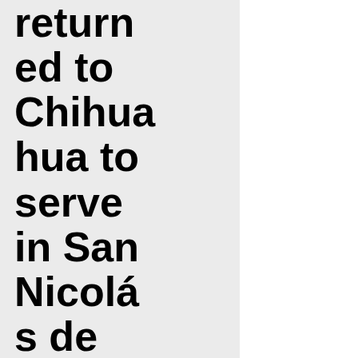returned to Chihuahua to serve in San Nicolás de Carretas. His arrival at the parish coincided with a terrible